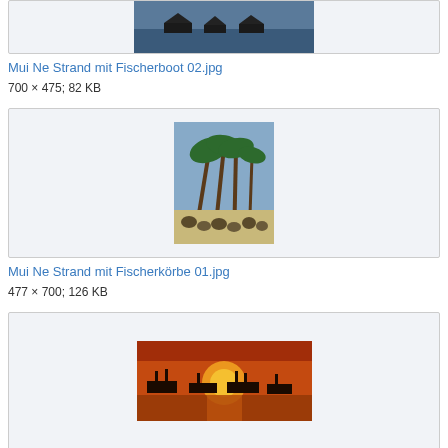[Figure (photo): Partial image of a harbor or waterway scene (boats on water), cropped at top of page]
Mui Ne Strand mit Fischerboot 02.jpg
700 × 475; 82 KB
[Figure (photo): Photo of a beach with tall palm trees leaning over, and circular woven baskets/boats on the sandy shore]
Mui Ne Strand mit Fischerkörbe 01.jpg
477 × 700; 126 KB
[Figure (photo): Sunset photo with silhouettes of fishing boats on the sea against an orange sky]